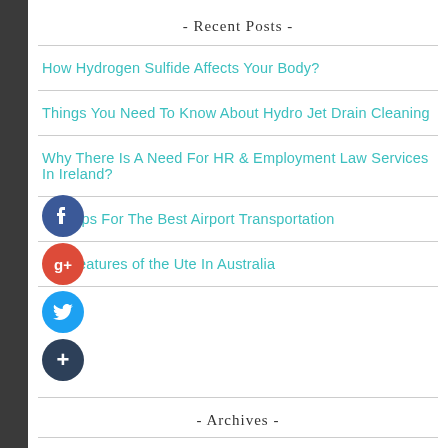- Recent Posts -
How Hydrogen Sulfide Affects Your Body?
Things You Need To Know About Hydro Jet Drain Cleaning
Why There Is A Need For HR & Employment Law Services In Ireland?
Tips For The Best Airport Transportation
Features of the Ute In Australia
- Archives -